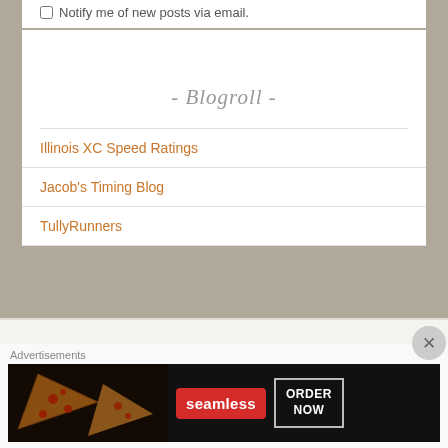Notify me of new posts via email.
- Blogroll -
Illinois XC Speed Ratings
Jacob's Timing Blog
TullyRunners
- Follow me on the Twitter -
Advertisements
[Figure (other): Seamless food delivery advertisement banner with pizza image, Seamless logo, and ORDER NOW button]